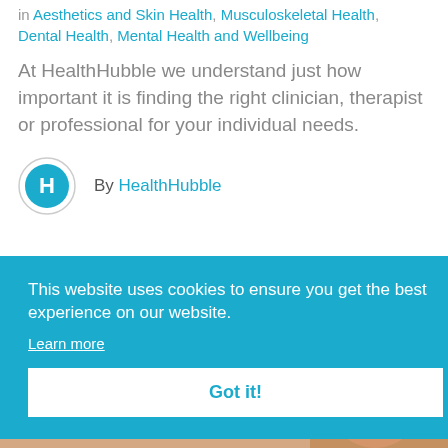in Aesthetics and Skin Health, Musculoskeletal Health, Dental Health, Mental Health and Wellbeing
At HealthHubble we understand just how important it is finding the right clinician, therapist or professional for your individual needs.
By HealthHubble
This website uses cookies to ensure you get the best experience on our website.
Learn more
Got it!
[Figure (photo): Partial photo of a smiling person visible at the bottom right behind the cookie banner]